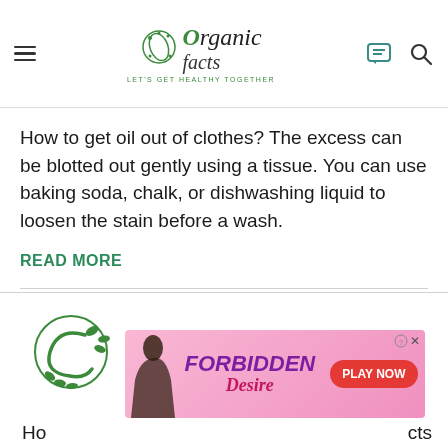Organic Facts — LET'S GET HEALTHY TOGETHER
How to get oil out of clothes? The excess can be blotted out gently using a tissue. You can use baking soda, chalk, or dishwashing liquid to loosen the stain before a wash.
READ MORE
[Figure (logo): Organic Facts logo with green leaf swirl and social media icons (YouTube, Instagram, Pinterest, Facebook, Twitter)]
[Figure (screenshot): Advertisement banner for Forbidden Desire game with pink background, woman silhouette, and PLAY NOW button]